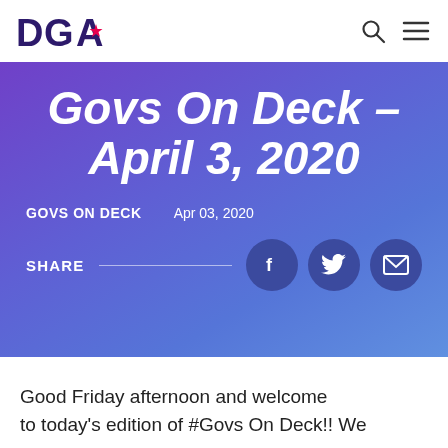DGA
Govs On Deck – April 3, 2020
GOVS ON DECK    Apr 03, 2020
SHARE
Good Friday afternoon and welcome to today's edition of #Govs On Deck!! We...